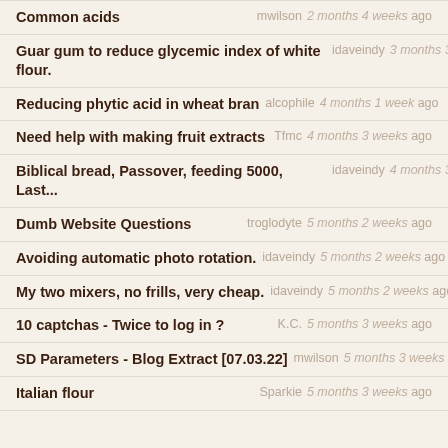Common acids — mwilson 2 months 4 weeks ago
Guar gum to reduce glycemic index of white flour. — idaveindy 3 months 3 weeks ago
Reducing phytic acid in wheat bran — alcophile 4 months 1 week ago
Need help with making fruit extracts — Tfmc 4 months 3 weeks ago
Biblical bread, Passover, feeding 5000, Last... — idaveindy 4 months 3 weeks ago
Dumb Website Questions — troglodyte 5 months 2 weeks ago
Avoiding automatic photo rotation. — idaveindy 5 months 2 weeks ago
My two mixers, no frills, very cheap. — idaveindy 5 months 2 weeks ago
10 captchas - Twice to log in ? — K.C. 5 months 3 weeks ago
SD Parameters - Blog Extract [07.03.22] — mwilson 5 months 3 weeks ago
Italian flour — Sparkie 5 months 3 weeks ago